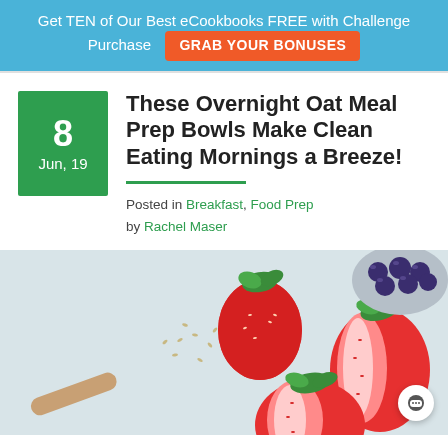Get TEN of Our Best eCookbooks FREE with Challenge Purchase  GRAB YOUR BONUSES
These Overnight Oat Meal Prep Bowls Make Clean Eating Mornings a Breeze!
Posted in Breakfast, Food Prep by Rachel Maser
[Figure (photo): Overhead photo of strawberries (whole and halved) on a light surface with hemp seeds, and a bowl of blueberries in the upper right corner]